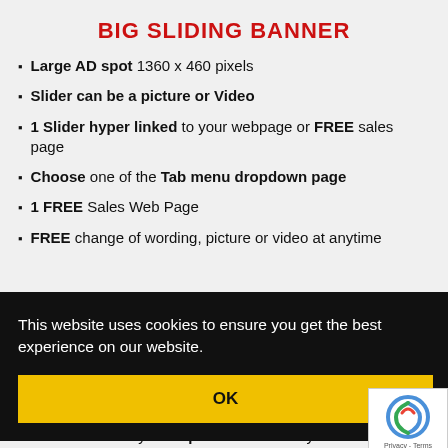BIG SLIDING BANNER
Large AD spot 1360 x 460 pixels
Slider can be a picture or Video
1 Slider hyper linked to your webpage or FREE sales page
Choose one of the Tab menu dropdown page
1 FREE Sales Web Page
FREE change of wording, picture or video at anytime
This website uses cookies to ensure you get the best experience on our website.
3 Months on any 1 Drop Down Menu of your choice